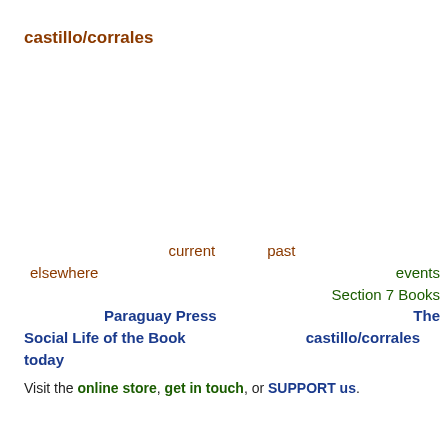castillo/corrales
current   past
elsewhere                      events
Section 7 Books
Paraguay Press                        The
Social Life of the Book    castillo/corrales
today
Visit the online store, get in touch, or SUPPORT us.